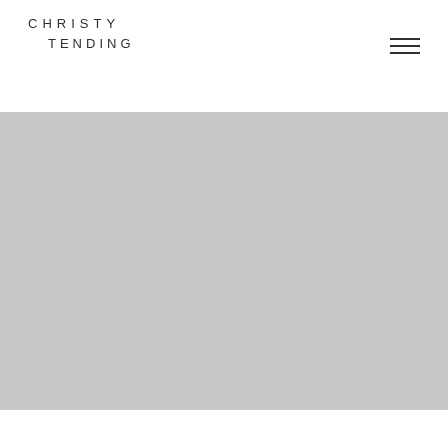CHRISTY TENDING
[Figure (other): Hamburger/navigation menu icon with three horizontal lines]
[Figure (photo): Large light gray placeholder image occupying the main hero section of the page]